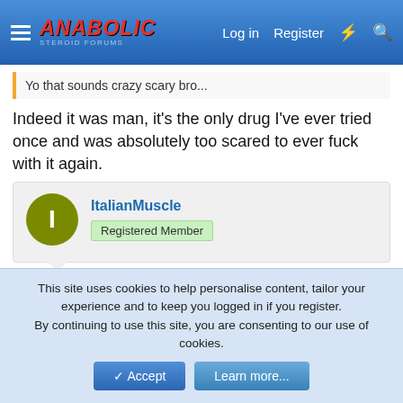Anabolic Steroid Forums — Log in | Register
Yo that sounds crazy scary bro...
Indeed it was man, it's the only drug I've ever tried once and was absolutely too scared to ever fuck with it again.
ItalianMuscle
Registered Member
May 17, 2022  #26
Mad Mardigan said:
The addy's ain't good for making gainz bruh. Good for killin' an appetite, and cutting perhaps. But the rebound effect- lack of
This site uses cookies to help personalise content, tailor your experience and to keep you logged in if you register.
By continuing to use this site, you are consenting to our use of cookies.